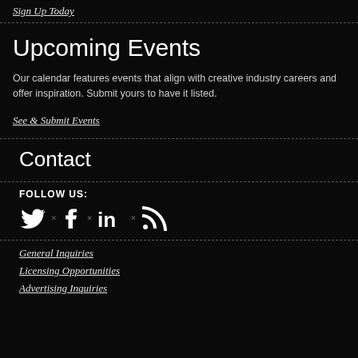Sign Up Today
Upcoming Events
Our calendar features events that align with creative industry careers and offer inspiration. Submit yours to have it listed.
See & Submit Events
Contact
FOLLOW US:
[Figure (illustration): Social media icons: Twitter bird, Facebook f, LinkedIn in, RSS feed symbol with small x separators between each]
General Inquiries
Licensing Opportunities
Advertising Inquiries